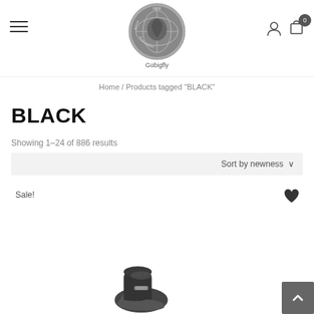[Figure (logo): New Rock Boots & Shoes circular logo with globe/horse imagery, labeled 'Gobigfly' below]
Home / Products tagged "BLACK"
BLACK
Showing 1–24 of 886 results
Sort by newness
Sale!
[Figure (photo): Partial product image of a black New Rock boot/shoe visible at bottom of page]